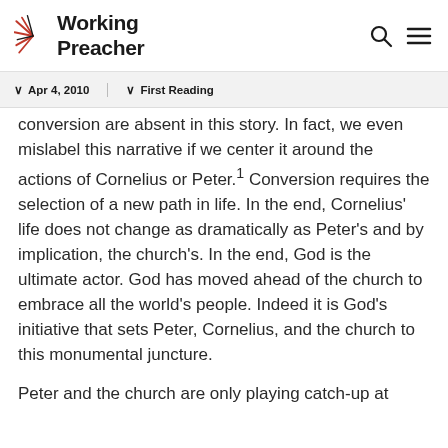Working Preacher
Apr 4, 2010   First Reading
conversion are absent in this story. In fact, we even mislabel this narrative if we center it around the actions of Cornelius or Peter.¹ Conversion requires the selection of a new path in life. In the end, Cornelius' life does not change as dramatically as Peter's and by implication, the church's. In the end, God is the ultimate actor. God has moved ahead of the church to embrace all the world's people. Indeed it is God's initiative that sets Peter, Cornelius, and the church to this monumental juncture.
Peter and the church are only playing catch-up at